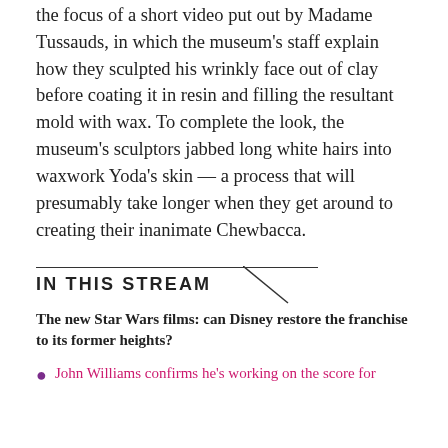the focus of a short video put out by Madame Tussauds, in which the museum's staff explain how they sculpted his wrinkly face out of clay before coating it in resin and filling the resultant mold with wax. To complete the look, the museum's sculptors jabbed long white hairs into waxwork Yoda's skin — a process that will presumably take longer when they get around to creating their inanimate Chewbacca.
IN THIS STREAM
The new Star Wars films: can Disney restore the franchise to its former heights?
John Williams confirms he's working on the score for